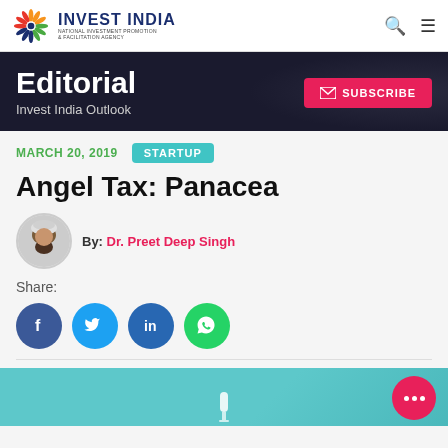INVEST INDIA — National Investment Promotion & Facilitation Agency
Editorial
Invest India Outlook
MARCH 20, 2019  STARTUP
Angel Tax: Panacea
By: Dr. Preet Deep Singh
Share:
[Figure (infographic): Teal/cyan colored article preview image with a chat/pencil icon at the bottom and a pink floating action button with three dots]